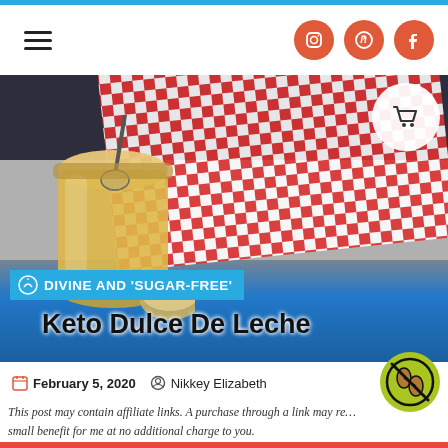Navigation bar with hamburger menu and social icons (Instagram, Pinterest, Facebook)
[Figure (photo): Hero photo of a jar of keto dulce de leche with a spoon, set on a blue wooden surface with a red and white checkered cloth in the background. Overlaid text reads 'DIVINE AND SUGAR-FREE Keto Dulce De Leche'. A shopping cart icon circle is in the top right.]
February 5, 2020   Nikkey Elizabeth
This post may contain affiliate links. A purchase through a link may re… small benefit for me at no additional charge to you.